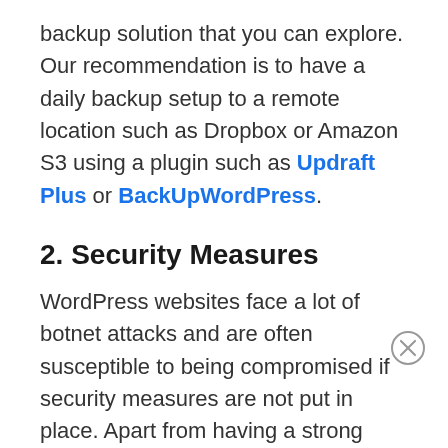backup solution that you can explore. Our recommendation is to have a daily backup setup to a remote location such as Dropbox or Amazon S3 using a plugin such as Updraft Plus or BackUpWordPress.
2. Security Measures
WordPress websites face a lot of botnet attacks and are often susceptible to being compromised if security measures are not put in place. Apart from having a strong password for admin users, it is also recommended to utilize a security WordPress plugin such as Wordfence